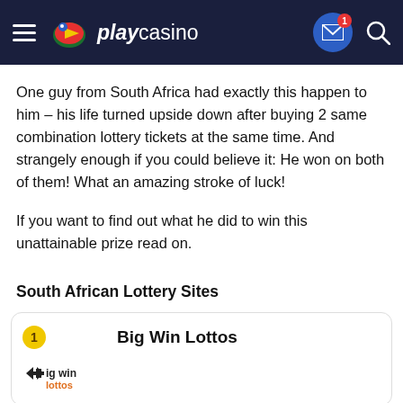playcasino
One guy from South Africa had exactly this happen to him – his life turned upside down after buying 2 same combination lottery tickets at the same time. And strangely enough if you could believe it: He won on both of them! What an amazing stroke of luck!
If you want to find out what he did to win this unattainable prize read on.
South African Lottery Sites
[Figure (logo): Big Win Lottos logo with rank badge 1 and lottery brand imagery]